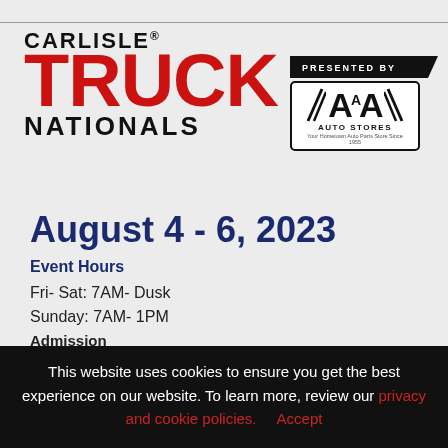[Figure (logo): Carlisle Truck Nationals presented by A&A Auto Stores logo. 'CARLISLE' in black bold text above large red bold 'TRUCK', with 'NATIONALS' in black below. A diagonal black ribbon reads 'PRESENTED BY' pointing to an A&A Auto Stores logo box on the right.]
August 4 - 6, 2023
Event Hours
Fri- Sat: 7AM- Dusk
Sunday: 7AM- 1PM
Admission
This website uses cookies to ensure you get the best experience on our website. To learn more, review our privacy and cookie policies.  Accept